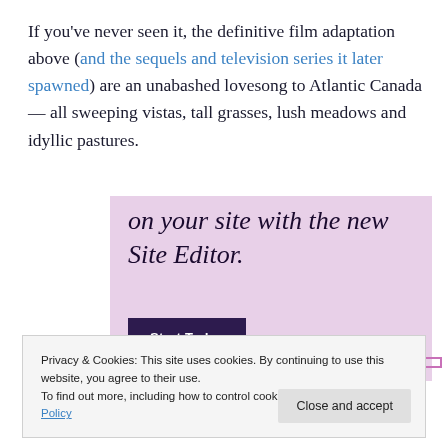If you've never seen it, the definitive film adaptation above (and the sequels and television series it later spawned) are an unabashed lovesong to Atlantic Canada — all sweeping vistas, tall grasses, lush meadows and idyllic pastures.
[Figure (screenshot): Advertisement banner with pink/lavender background showing partial text 'on your site with the new Site Editor.' and a dark purple 'Start Today' button]
Privacy & Cookies: This site uses cookies. By continuing to use this website, you agree to their use.
To find out more, including how to control cookies, see here: Cookie Policy
Close and accept